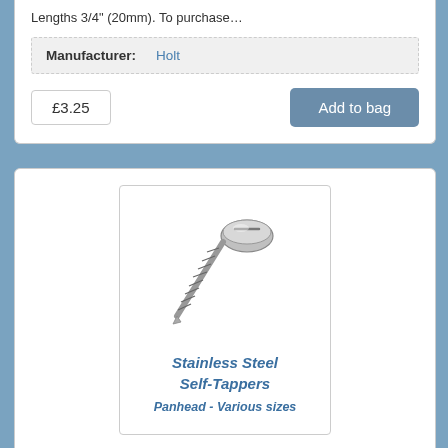Lengths 3/4" (20mm). To purchase…
| Manufacturer: | Holt |
| --- | --- |
£3.25
Add to bag
[Figure (photo): Stainless steel self-tapper pan head screw, silver metallic finish, angled view showing threaded shaft and slotted pan head]
Stainless Steel Self-Tappers
Panhead - Various sizes
Self-tapper screw pan head - 6 x 1" - 1 1/4" (3.5mm x 25 to 32mm